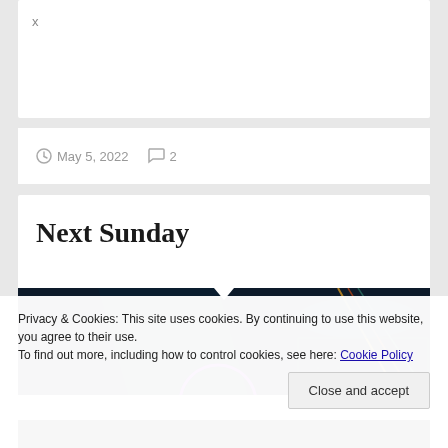x
May 5, 2022   2
Next Sunday
[Figure (photo): Dark image of an electric guitar with colorful neon lighting accents including purple circle and rainbow colors]
Privacy & Cookies: This site uses cookies. By continuing to use this website, you agree to their use.
To find out more, including how to control cookies, see here: Cookie Policy
Close and accept